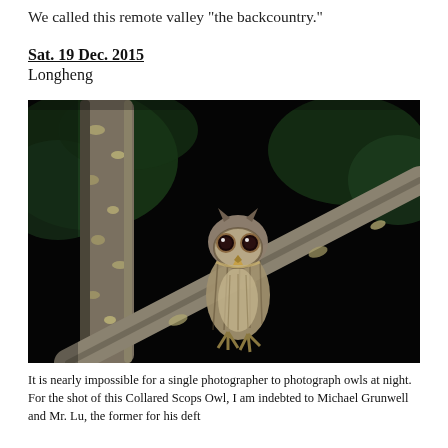We called this remote valley "the backcountry."
Sat. 19 Dec. 2015
Longheng
[Figure (photo): A Collared Scops Owl perched on a tree branch at night, photographed against a dark background with some green foliage visible.]
It is nearly impossible for a single photographer to photograph owls at night. For the shot of this Collared Scops Owl, I am indebted to Michael Grunwell and Mr. Lu, the former for his deft